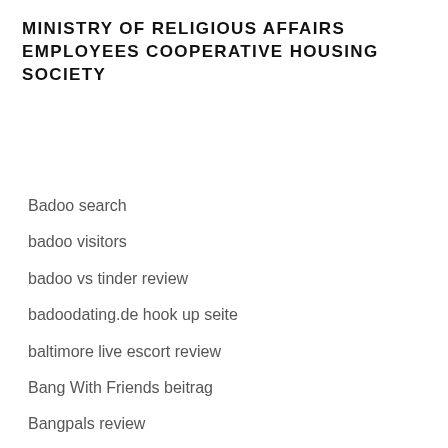MINISTRY OF RELIGIOUS AFFAIRS EMPLOYEES COOPERATIVE HOUSING SOCIETY
Badoo search
badoo visitors
badoo vs tinder review
badoodating.de hook up seite
baltimore live escort review
Bang With Friends beitrag
Bangpals review
Baptist Dating beoordelingen
Baptist Dating chce strone
Baptist Dating Service browse around tids web-site